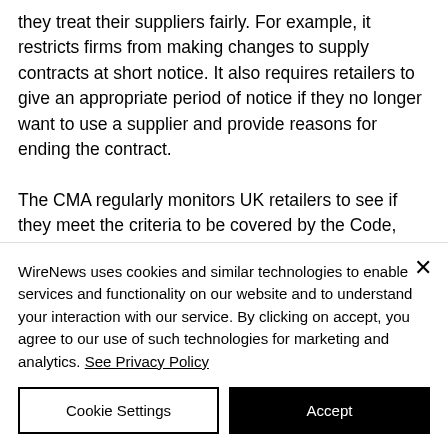they treat their suppliers fairly. For example, it restricts firms from making changes to supply contracts at short notice. It also requires retailers to give an appropriate period of notice if they no longer want to use a supplier and provide reasons for ending the contract.

The CMA regularly monitors UK retailers to see if they meet the criteria to be covered by the Code, such as relevant turnover. However, once the CMA has
WireNews uses cookies and similar technologies to enable services and functionality on our website and to understand your interaction with our service. By clicking on accept, you agree to our use of such technologies for marketing and analytics. See Privacy Policy